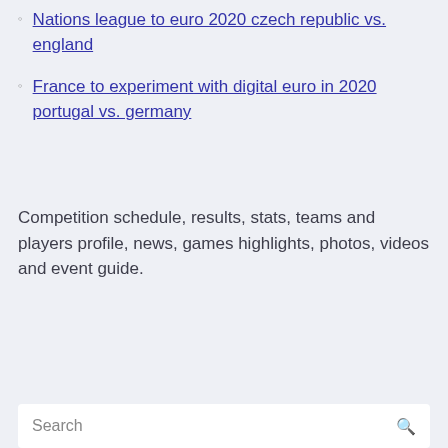Nations league to euro 2020 czech republic vs. england
France to experiment with digital euro in 2020 portugal vs. germany
Competition schedule, results, stats, teams and players profile, news, games highlights, photos, videos and event guide.